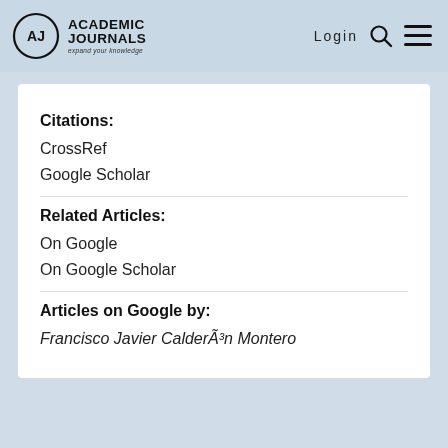Academic Journals — expand your knowledge | Login
Citations:
CrossRef
Google Scholar
Related Articles:
On Google
On Google Scholar
Articles on Google by:
Francisco Javier CalderÃ³n Montero